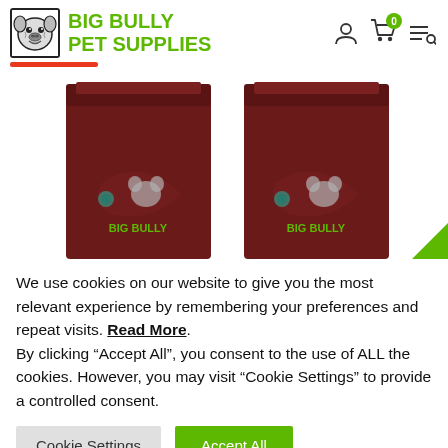BIG BULLY PET SUPPLIES
[Figure (photo): Two dark red/maroon pet food bags with 'BIG BULLY' text in green on front, shown side by side]
We use cookies on our website to give you the most relevant experience by remembering your preferences and repeat visits. Read More. By clicking “Accept All”, you consent to the use of ALL the cookies. However, you may visit “Cookie Settings” to provide a controlled consent.
Cookie Settings
Accept All